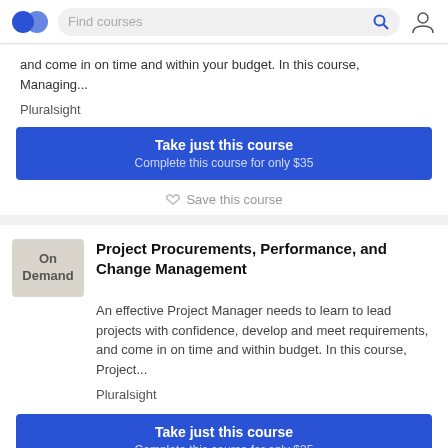Find courses
and come in on time and within your budget. In this course, Managing...
Pluralsight
Take just this course
Complete this course for only $35
Save this course
Project Procurements, Performance, and Change Management
An effective Project Manager needs to learn to lead projects with confidence, develop and meet requirements, and come in on time and within budget. In this course, Project...
Pluralsight
Take just this course
Complete this course for only $35